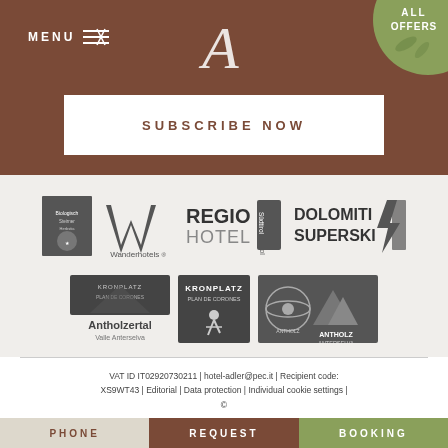[Figure (logo): Hotel website header with brown background, MENU navigation, decorative script A logo, ALL OFFERS green circle badge, and SUBSCRIBE NOW button]
[Figure (logo): Row of partner logos: Steirischer Herbst, Wanderhotels, Regio Hotel Südtirol, Dolomiti Superski, Antholzertal Valle Anterselva, Kronplatz Plan de Corones, Antholz Anterselva ski resort]
VAT ID IT02920730211 | hotel-adler@pec.it | Recipient code: XS9WT43 | Editorial | Data protection | Individual cookie settings | ©
[Figure (infographic): Bottom navigation bar with three sections: PHONE (beige), REQUEST (brown), BOOKING (green)]